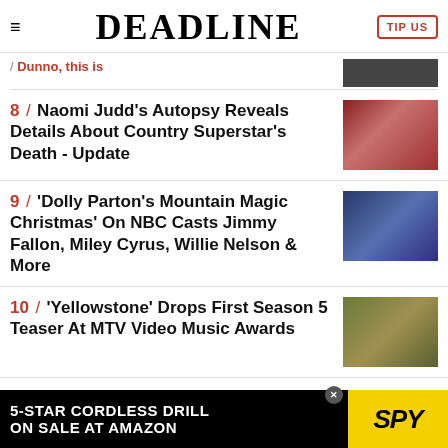DEADLINE
8 / Naomi Judd's Autopsy Reveals Details About Country Superstar's Death - Update
9 / 'Dolly Parton's Mountain Magic Christmas' On NBC Casts Jimmy Fallon, Miley Cyrus, Willie Nelson & More
10 / 'Yellowstone' Drops First Season 5 Teaser At MTV Video Music Awards
[Figure (photo): Naomi Judd photo]
[Figure (photo): Dolly Parton Mountain Magic Christmas cast photo]
[Figure (photo): Yellowstone season 5 teaser photo]
[Figure (other): 5-Star Cordless Drill on sale at Amazon - SPY advertisement banner]